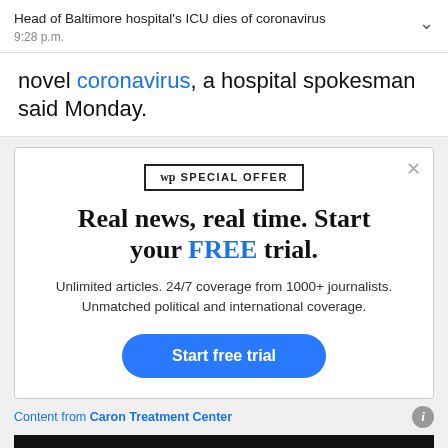Head of Baltimore hospital's ICU dies of coronavirus
9:28 p.m.
novel coronavirus, a hospital spokesman said Monday.
[Figure (infographic): Washington Post subscription promotional modal with 'WP SPECIAL OFFER' badge, headline 'Real news, real time. Start your FREE trial.', subtext 'Unlimited articles. 24/7 coverage from 1000+ journalists. Unmatched political and international coverage.', and a blue 'Start free trial' button.]
Content from Caron Treatment Center
[Figure (infographic): Bottom advertisement banner for 'The Notebooks of Leonardo da Vinci' with 'ORDER TODAY!' button and STC logo in yellow-green.]